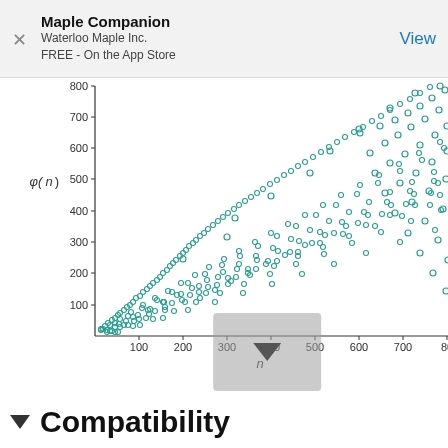Maple Companion
Waterloo Maple Inc.
FREE - On the App Store
View
[Figure (continuous-plot): Scatter plot of Euler's totient function φ(n) vs n, showing multiple curved fan-like bands of teal/green circles radiating from the origin. Y-axis labeled φ(n) with ticks at 100, 200, 300, 400, 500, 600, 700, 800. X-axis labeled n with ticks at 100, 200, 300, 400, 500, 600, 700, 800+.]
Compatibility